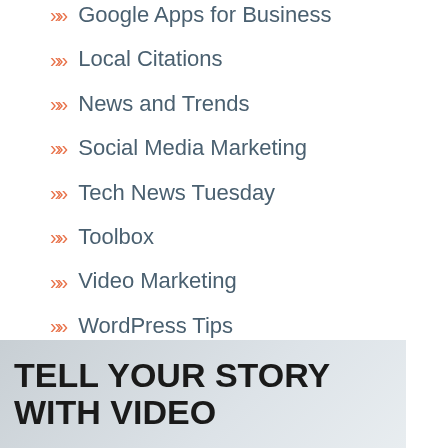Google Apps for Business
Local Citations
News and Trends
Social Media Marketing
Tech News Tuesday
Toolbox
Video Marketing
WordPress Tips
[Figure (illustration): Banner with text TELL YOUR STORY WITH VIDEO on a gray gradient background]